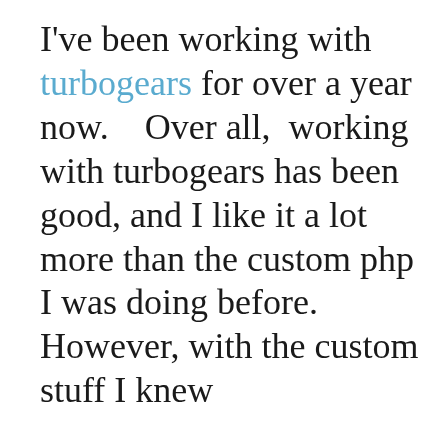I've been working with turbogears for over a year now.    Over all,  working with turbogears has been good, and I like it a lot more than the custom php I was doing before. However, with the custom stuff I knew